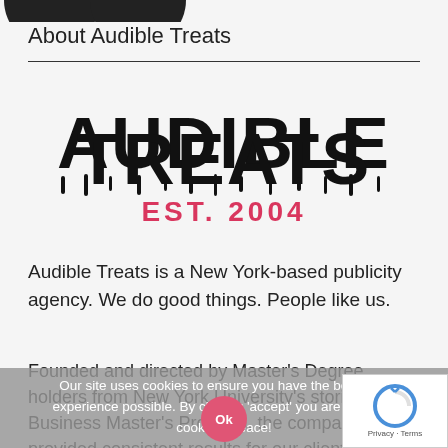[Figure (illustration): Two partial dark circles cropped at the top edge of the page]
About Audible Treats
[Figure (logo): Audible Treats logo with dripping black lettering and 'EST. 2004' in red/pink below]
Audible Treats is a New York-based publicity agency. We do good things. People like us.
Founded and directed by Master's Degree holders from New York University's storied Music Business Master's Program, the company has provided consistent results for our clients for over eight years. We provide full-service online, print, and tv
Our site uses cookies to ensure you have the best user experience possible. By clicking 'accept' you are enabling cookies. Peace!